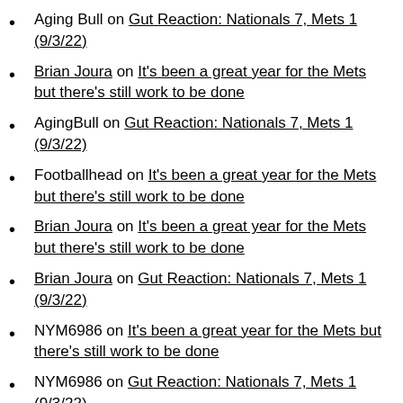Aging Bull on Gut Reaction: Nationals 7, Mets 1 (9/3/22)
Brian Joura on It's been a great year for the Mets but there's still work to be done
AgingBull on Gut Reaction: Nationals 7, Mets 1 (9/3/22)
Footballhead on It's been a great year for the Mets but there's still work to be done
Brian Joura on It's been a great year for the Mets but there's still work to be done
Brian Joura on Gut Reaction: Nationals 7, Mets 1 (9/3/22)
NYM6986 on It's been a great year for the Mets but there's still work to be done
NYM6986 on Gut Reaction: Nationals 7, Mets 1 (9/3/22)